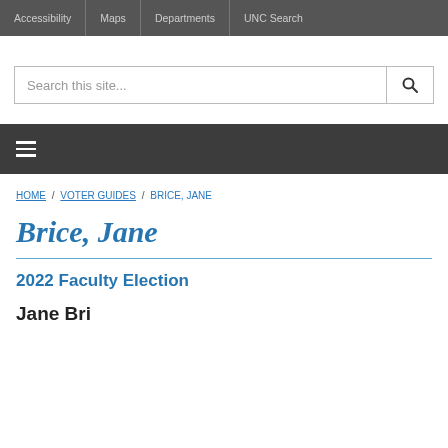Accessibility | Maps | Departments | UNC Search
Search this site...
≡
HOME / VOTER GUIDES / BRICE, JANE
Brice, Jane
2022 Faculty Election
Jane Bri...